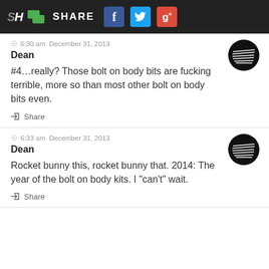SH | SHARE | Facebook | Twitter | Google+
6:30 am  December 31, 2013
Dean
#4...really? Those bolt on body bits are fucking terrible, more so than most other bolt on body bits even.
Share
6:33 am  December 31, 2013
Dean
Rocket bunny this, rocket bunny that. 2014: The year of the bolt on body kits. I "can't" wait.
Share